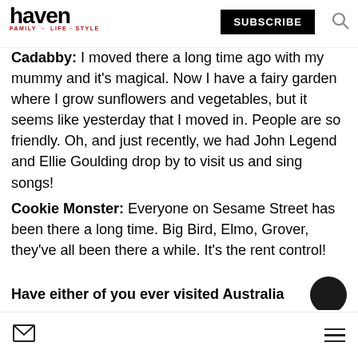haven FAMILY · LIFE · STYLE | SUBSCRIBE
Cadabby: I moved there a long time ago with my mummy and it's magical. Now I have a fairy garden where I grow sunflowers and vegetables, but it seems like yesterday that I moved in. People are so friendly. Oh, and just recently, we had John Legend and Ellie Goulding drop by to visit us and sing songs!
Cookie Monster: Everyone on Sesame Street has been there a long time. Big Bird, Elmo, Grover, they've all been there a while. It's the rent control!
Have either of you ever visited Australia
mail icon | hamburger menu